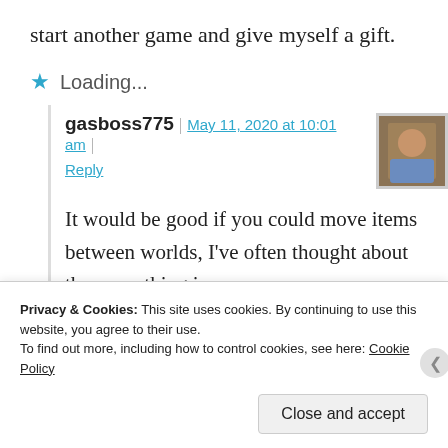start another game and give myself a gift.
Loading...
gasboss775 | May 11, 2020 at 10:01 am | Reply
[Figure (photo): Avatar photo of commenter gasboss775 — a person in a blue shirt seated at a table]
It would be good if you could move items between worlds, I’ve often thought about the same thing in
Privacy & Cookies: This site uses cookies. By continuing to use this website, you agree to their use.
To find out more, including how to control cookies, see here: Cookie Policy
Close and accept